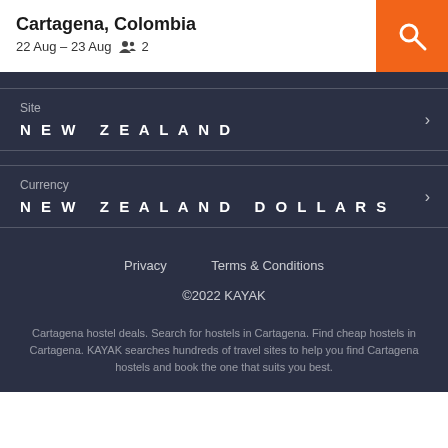Cartagena, Colombia
22 Aug – 23 Aug  👥  2
Site
NEW ZEALAND
Currency
NEW ZEALAND DOLLARS
Privacy    Terms & Conditions
©2022 KAYAK
Cartagena hostel deals. Search for hostels in Cartagena. Find cheap hostels in Cartagena. KAYAK searches hundreds of travel sites to help you find Cartagena hostels and book the one that suits you best.